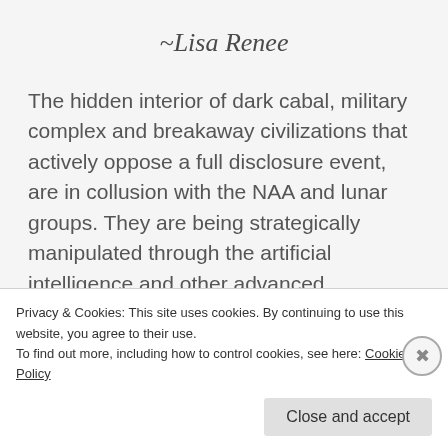~Lisa Renee
The hidden interior of dark cabal, military complex and breakaway civilizations that actively oppose a full disclosure event, are in collusion with the NAA and lunar groups. They are being strategically manipulated through the artificial intelligence and other advanced technologies that are given to them
Privacy & Cookies: This site uses cookies. By continuing to use this website, you agree to their use.
To find out more, including how to control cookies, see here: Cookie Policy